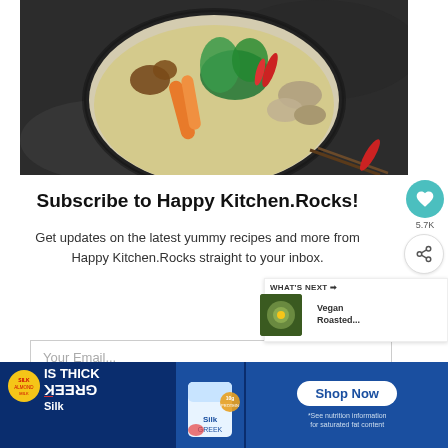[Figure (photo): Overhead view of a bowl of Asian-style soup or curry with vegetables including carrots, mushrooms, bok choy, and red chili peppers in a creamy broth, placed on a dark cloth]
Subscribe to Happy Kitchen.Rocks!
Get updates on the latest yummy recipes and more from Happy Kitchen.Rocks straight to your inbox.
[Figure (other): Email subscription input field with placeholder text 'Your Email...']
[Figure (other): Advertisement banner for Silk Greek yogurt with 'IS THICK GREEK Silk' text (mirrored), a cup of Silk Greek yogurt, Shop Now button, and disclaimer '*See nutrition information for saturated fat content']